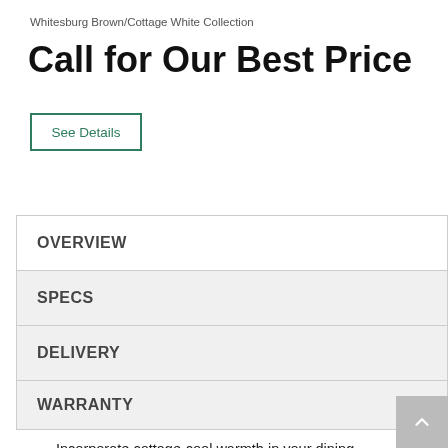Whitesburg Brown/Cottage White Collection
Call for Our Best Price
See Details
OVERVIEW
SPECS
DELIVERY
WARRANTY
Incorporate cottage-cool warmth in your dining space with this dining room side chair in a classic style design. A two-tone finish…